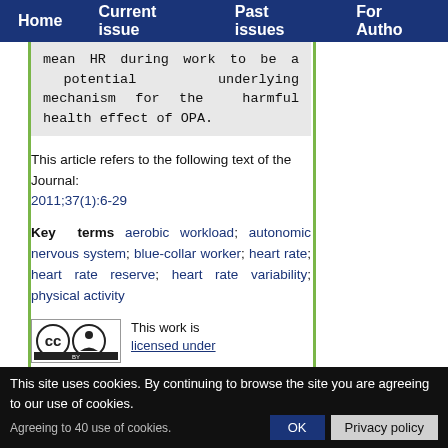Home | Current issue | Past issues | For Authors
mean HR during work to be a potential underlying mechanism for the harmful health effect of OPA.
This article refers to the following text of the Journal: 2011;37(1):6-29
Key terms aerobic workload; autonomic nervous system; blue-collar worker; heart rate; heart rate reserve; heart rate variability; physical activity
This work is licensed under
This site uses cookies. By continuing to browse the site you are agreeing to our use of cookies.